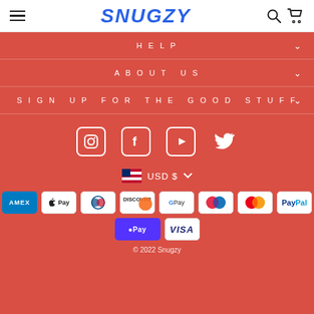SNUGZY
HELP
ABOUT US
SIGN UP FOR THE GOOD STUFF
[Figure (infographic): Social media icons: Instagram, Facebook, YouTube, Twitter]
USD $
[Figure (infographic): Payment method icons: American Express, Apple Pay, Diners Club, Discover, Google Pay, Maestro, Mastercard, PayPal, Shop Pay, Visa]
© 2022 Snugzy